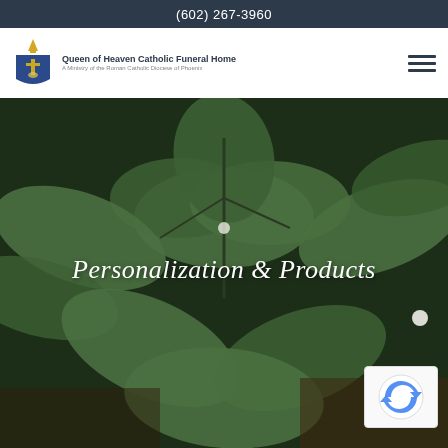(602) 267-3960
[Figure (logo): Queen of Heaven Catholic Funeral Home shield/crest logo with text]
[Figure (photo): Close-up photograph of green leaves with small white flowers, serving as hero background image]
Personalization & Products
[Figure (other): reCAPTCHA verification badge in bottom right corner]